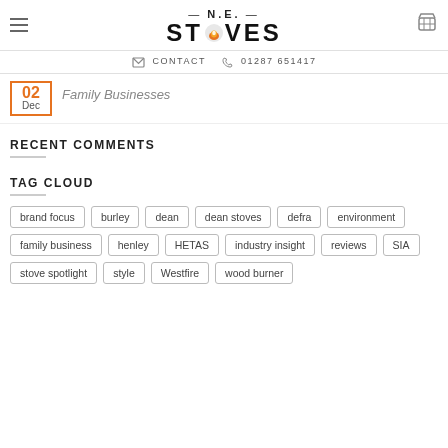N.E. STOVES — logo with flame icon, hamburger menu, cart icon
CONTACT  01287 651417
02 Dec  Family Businesses
RECENT COMMENTS
TAG CLOUD
brand focus
burley
dean
dean stoves
defra
environment
family business
henley
HETAS
industry insight
reviews
SIA
stove spotlight
style
Westfire
wood burner